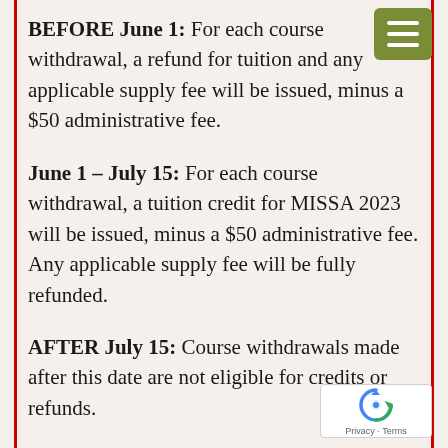BEFORE June 1: For each course withdrawal, a refund for tuition and any applicable supply fee will be issued, minus a $50 administrative fee.
June 1 – July 15: For each course withdrawal, a tuition credit for MISSA 2023 will be issued, minus a $50 administrative fee. Any applicable supply fee will be fully refunded.
AFTER July 15: Course withdrawals made after this date are not eligible for credits or refunds.